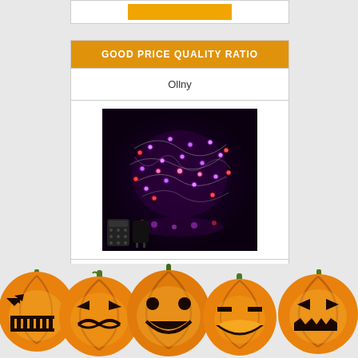GOOD PRICE QUALITY RATIO
Ollny
[Figure (photo): Product photo of Ollny Christmas string lights showing colorful purple, red and pink LED lights illuminated against a dark background, with a remote control visible in the lower left corner]
Ollny Christmas String Lights Outdoor 60ft 180 LED, Dimming & Timer Funcin Twinkle Fairy...ons(...rple)
[Figure (illustration): Row of carved Halloween jack-o-lantern pumpkins with glowing faces across the bottom of the page]